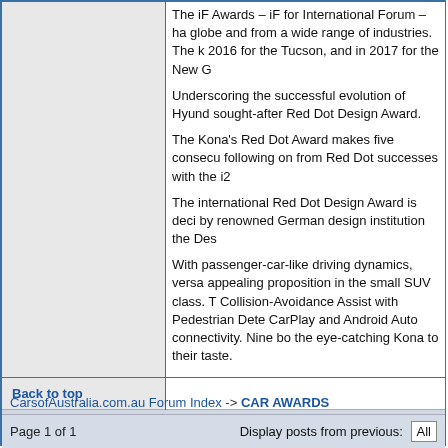The iF Awards – iF for International Forum – ha globe and from a wide range of industries. The k 2016 for the Tucson, and in 2017 for the New G
Underscoring the successful evolution of Hyund sought-after Red Dot Design Award.
The Kona's Red Dot Award makes five consecu following on from Red Dot successes with the i2
The international Red Dot Design Award is deci by renowned German design institution the Des
With passenger-car-like driving dynamics, versa appealing proposition in the small SUV class. T Collision-Avoidance Assist with Pedestrian Dete CarPlay and Android Auto connectivity. Nine bo the eye-catching Kona to their taste.
Back to top
Display posts from previous: All
CarsofAustralia.com.au Forum Index -> CAR AWARDS
Page 1 of 1